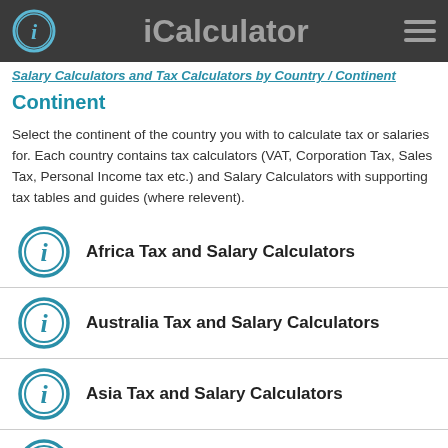iCalculator
Salary Calculators and Tax Calculators by Country / Continent
Continent
Select the continent of the country you with to calculate tax or salaries for. Each country contains tax calculators (VAT, Corporation Tax, Sales Tax, Personal Income tax etc.) and Salary Calculators with supporting tax tables and guides (where relevent).
Africa Tax and Salary Calculators
Australia Tax and Salary Calculators
Asia Tax and Salary Calculators
Europe Tax and Salary Calculators